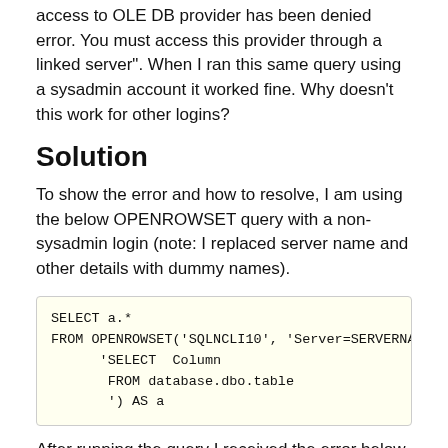access to OLE DB provider has been denied error. You must access this provider through a linked server". When I ran this same query using a sysadmin account it worked fine. Why doesn't this work for other logins?
Solution
To show the error and how to resolve, I am using the below OPENROWSET query with a non-sysadmin login (note: I replaced server name and other details with dummy names).
SELECT a.*
FROM OPENROWSET('SQLNCLI10', 'Server=SERVERNAME;UID=USERN...
      'SELECT  Column
       FROM database.dbo.table
       ') AS a
After running the query I received the error below.